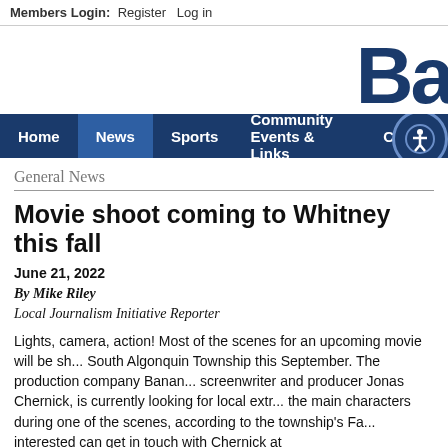Members Login: Register Log in
[Figure (logo): Partial logo text 'Ba' in large bold dark blue font]
General News
Movie shoot coming to Whitney this fall
June 21, 2022
By Mike Riley
Local Journalism Initiative Reporter
Lights, camera, action! Most of the scenes for an upcoming movie will be sh... South Algonquin Township this September. The production company Banan... screenwriter and producer Jonas Chernick, is currently looking for local extr... the main characters during one of the scenes, according to the township's Fa... interested can get in touch with Chernick at info@bananamooonskyfilms.com... and a recent photo.